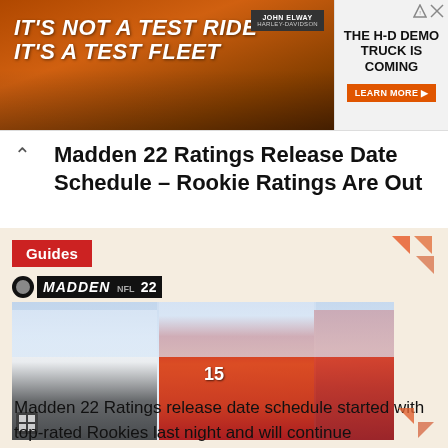[Figure (photo): Harley-Davidson advertisement banner. Left side shows orange/brown trucks with text 'IT'S NOT A TEST RIDE IT'S A TEST FLEET'. Right side shows 'JOHN ELWAY HARLEY-DAVIDSON' logo and text 'THE H-D DEMO TRUCK IS COMING' with 'LEARN MORE' button.]
Madden 22 Ratings Release Date Schedule – Rookie Ratings Are Out
[Figure (photo): Madden 22 video game cover art showing two NFL players in uniform sitting. One player in white Tampa Bay Buccaneers jersey and one in red Kansas City Chiefs jersey #15. The image has a 'Guides' badge in the top-left and the Madden NFL 22 logo. Orange triangle decorative elements in corners.]
Madden 22 Ratings release date schedule started with top-rated Rookies last night and will continue